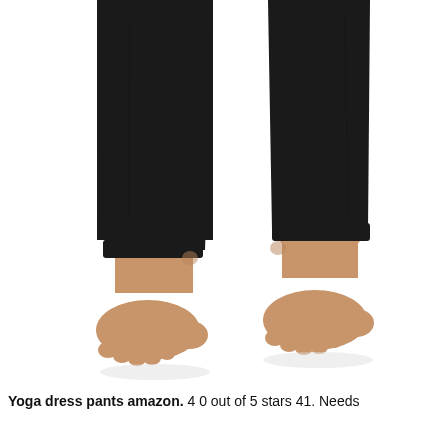[Figure (photo): Close-up photo of a person's lower legs and bare feet wearing black tight-fitting yoga/legging pants. The legs are shown from approximately mid-calf down against a white background. The person is standing with feet slightly apart.]
Yoga dress pants amazon. 4 0 out of 5 stars 41. Needs